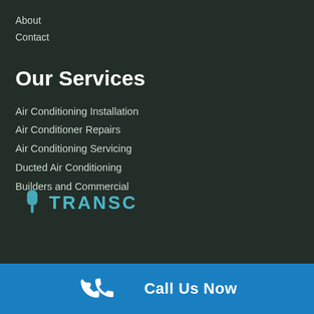About
Contact
Our Services
Air Conditioning Installation
Air Conditioner Repairs
Air Conditioning Servicing
Ducted Air Conditioning
Builders and Commercial
[Figure (logo): Company logo with leaf/tree icon and text brand name]
Call Us Now